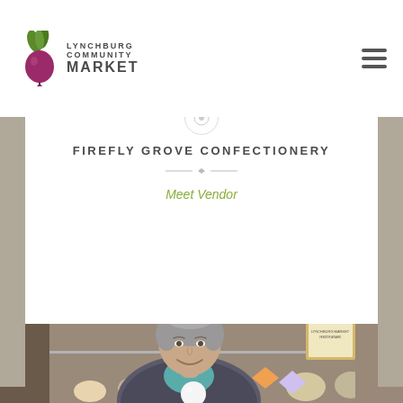[Figure (logo): Lynchburg Community Market logo with beet illustration and text]
FIREFLY GROVE CONFECTIONERY
Meet Vendor
[Figure (photo): A woman with short grey hair smiling behind a jewelry display case with gemstones, necklaces, and earrings on stands. A framed award is visible in the background.]